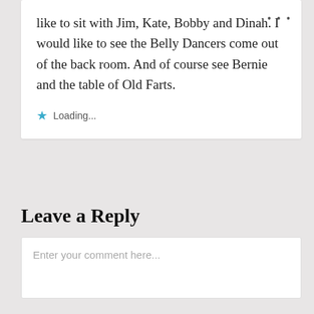like to sit with Jim, Kate, Bobby and Dinah. I would like to see the Belly Dancers come out of the back room. And of course see Bernie and the table of Old Farts.
Loading...
Leave a Reply
Enter your comment here...